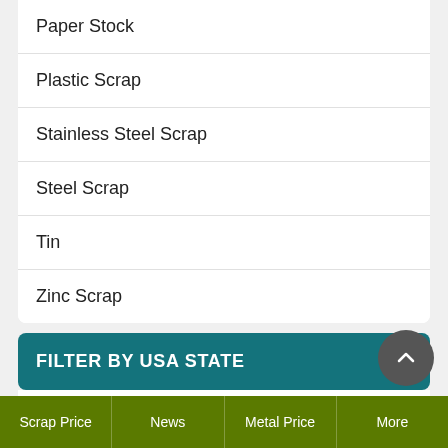Paper Stock
Plastic Scrap
Stainless Steel Scrap
Steel Scrap
Tin
Zinc Scrap
FILTER BY USA STATE
Alabama
Alaska
Arizona
Scrap Price | News | Metal Price | More